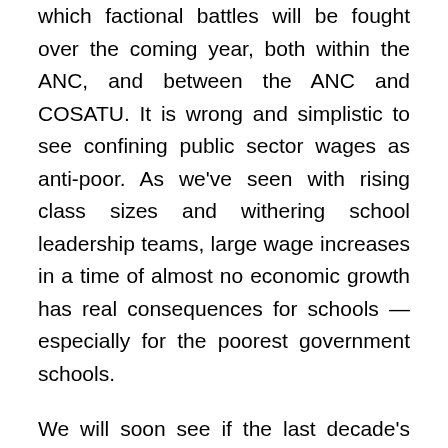which factional battles will be fought over the coming year, both within the ANC, and between the ANC and COSATU. It is wrong and simplistic to see confining public sector wages as anti-poor. As we've seen with rising class sizes and withering school leadership teams, large wage increases in a time of almost no economic growth has real consequences for schools — especially for the poorest government schools.
We will soon see if the last decade's crisis in political leadership will continue unabated or if the President has the leadership and backing to broker the needed compromises and new social compacts to move us forward. Minister Mboweni claims support from Cabinet and the President in confronting the wage bill. The big question now is whether the ANC will actually implement these policies, renegotiate already-signed wage